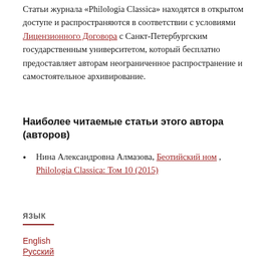Статьи журнала «Philologia Classica» находятся в открытом доступе и распространяются в соответствии с условиями Лицензионного Договора с Санкт-Петербургским государственным университетом, который бесплатно предоставляет авторам неограниченное распространение и самостоятельное архивирование.
Наиболее читаемые статьи этого автора (авторов)
Нина Александровна Алмазова, Беотийский ном , Philologia Classica: Том 10 (2015)
ЯЗЫК
English
Русский